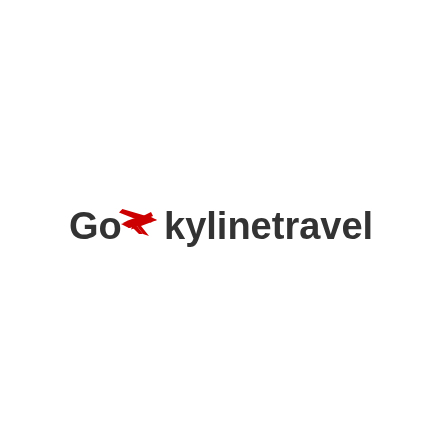[Figure (logo): Goskylinetravel logo: dark gray bold text with a red airplane icon replacing letters between 'Go' and 'ylinetravel']